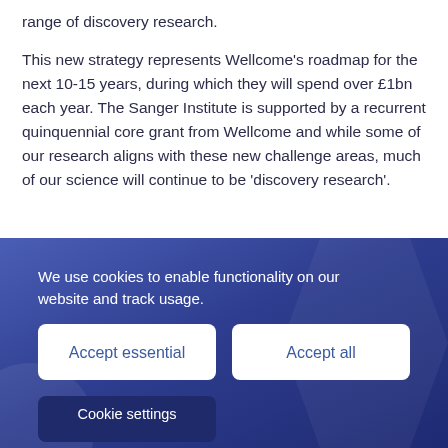range of discovery research.
This new strategy represents Wellcome's roadmap for the next 10-15 years, during which they will spend over £1bn each year. The Sanger Institute is supported by a recurrent quinquennial core grant from Wellcome and while some of our research aligns with these new challenge areas, much of our science will continue to be 'discovery research'.
Alongside the refreshed science strategy there will be a simplification of funding schemes, more partnership...
[Figure (screenshot): Cookie consent banner overlay with blue/dark purple gradient background. Contains text 'We use cookies to enable functionality on our website and track usage.' with two white buttons labeled 'Accept essential' and 'Accept all', and a partially visible dark 'Cookie settings' button at the bottom.]